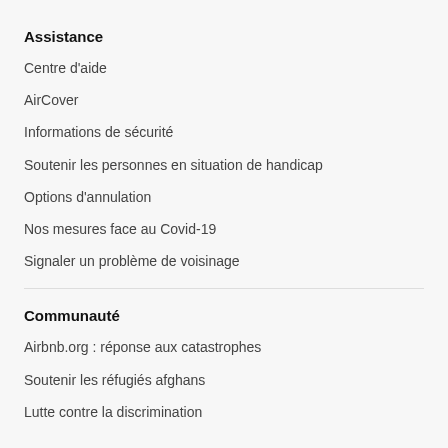Assistance
Centre d'aide
AirCover
Informations de sécurité
Soutenir les personnes en situation de handicap
Options d'annulation
Nos mesures face au Covid-19
Signaler un problème de voisinage
Communauté
Airbnb.org : réponse aux catastrophes
Soutenir les réfugiés afghans
Lutte contre la discrimination